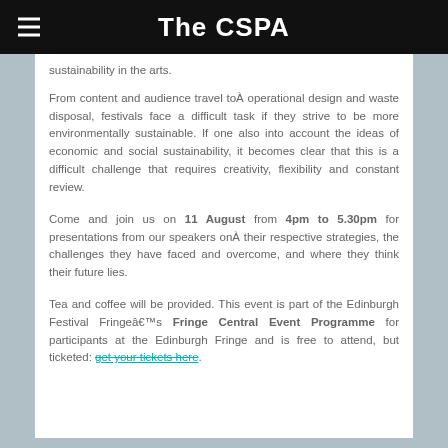The CSPA
sustainability in the arts.
From content and audience travel toÂ operational design and waste disposal, festivals face a difficult task if they strive to be more environmentally sustainable. If one also into account the ideas of economic and social sustainability, it becomes clear that this is a difficult challenge that requires creativity, flexibility and constant review.
Come and join us on 11 August from 4pm to 5.30pm for presentations from our speakers onÂ their respective strategies, the challenges they have faced and overcome, and where they think their future lies.
Tea and coffee will be provided. This event is part of the Edinburgh Festival Fringeâ€™s Fringe Central Event Programme for participants at the Edinburgh Fringe and is free to attend, but ticketed: get your tickets here.